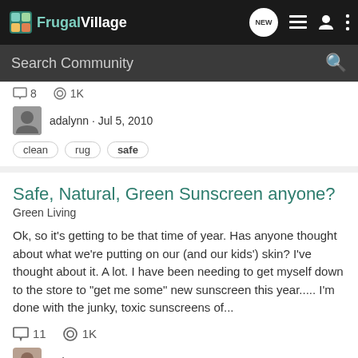FrugalVillage
Search Community
8  1K
adalynn · Jul 5, 2010
clean  rug  safe
Safe, Natural, Green Sunscreen anyone?
Green Living
Ok, so it's getting to be that time of year. Has anyone thought about what we're putting on our (and our kids') skin? I've thought about it. A lot. I have been needing to get myself down to the store to "get me some" new sunscreen this year..... I'm done with the junky, toxic sunscreens of...
11  1K
IntlMom · May 3, 2010